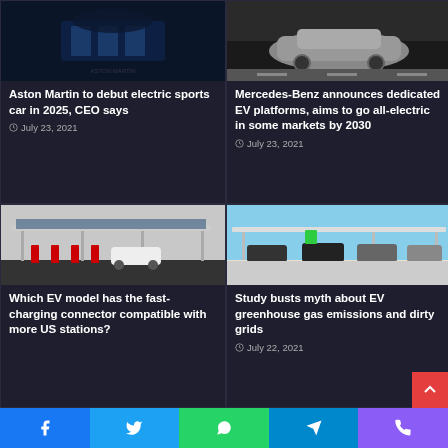[Figure (photo): Aston Martin car front grille close-up, dark blue]
Aston Martin to debut electric sports car in 2025, CEO says
July 23, 2021
[Figure (photo): Mercedes-Benz silver electric car on road]
Mercedes-Benz announces dedicated EV platforms, aims to go all-electric in some markets by 2030
July 23, 2021
[Figure (photo): Tesla Supercharger station with solar panels canopy and white SUV]
Which EV model has the fast-charging connector compatible with more US stations?
[Figure (photo): EV charging station canopy with multiple cars parked, blue sky background]
Study busts myth about EV greenhouse gas emissions and dirty grids
July 22, 2021